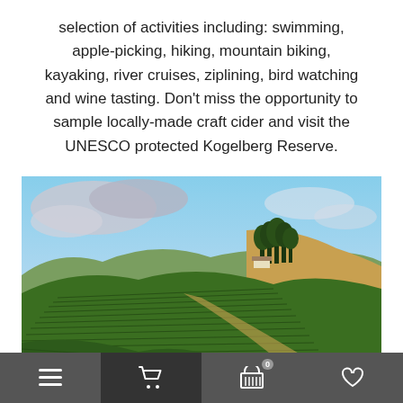selection of activities including: swimming, apple-picking, hiking, mountain biking, kayaking, river cruises, ziplining, bird watching and wine tasting. Don't miss the opportunity to sample locally-made craft cider and visit the UNESCO protected Kogelberg Reserve.
[Figure (photo): Aerial/landscape photograph of terraced vineyard rows on rolling hills under a partly cloudy sky, with a grove of tall trees on the hilltop and golden sandy paths between the green vine rows.]
Elgin
Navigation bar with menu, cart (0), basket (0), and favorites icons